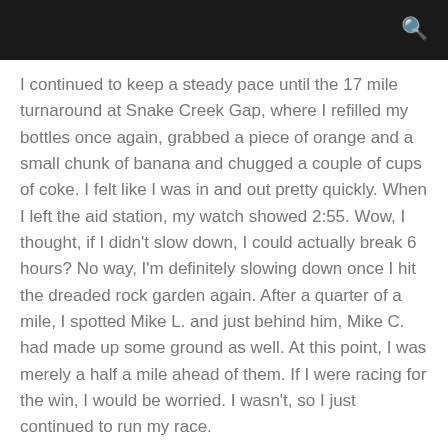I continued to keep a steady pace until the 17 mile turnaround at Snake Creek Gap, where I refilled my bottles once again, grabbed a piece of orange and a small chunk of banana and chugged a couple of cups of coke. I felt like I was in and out pretty quickly. When I left the aid station, my watch showed 2:55. Wow, I thought, if I didn't slow down, I could actually break 6 hours? No way, I'm definitely slowing down once I hit the dreaded rock garden again. After a quarter of a mile, I spotted Mike L. and just behind him, Mike C. had made up some ground as well. At this point, I was merely a half a mile ahead of them. If I were racing for the win, I would be worried. I wasn't, so I just continued to run my race.